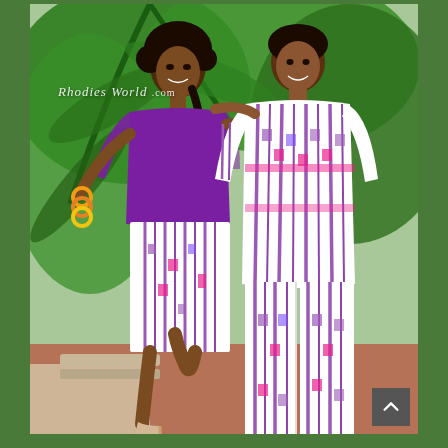[Figure (photo): A smiling couple posing outdoors against a tropical green plant background. The woman is on the left wearing a purple top and a matching white-and-purple striped kente-style skirt with colorful bangles and nude heels. She playfully lifts one leg. The man stands on the right, wearing a matching white-and-purple striped kente-style long-sleeve shirt and pants. A watermark reading 'Rhodies World .com' is overlaid in white italic script at the upper left. A scroll-to-top arrow button appears in the lower right corner.]